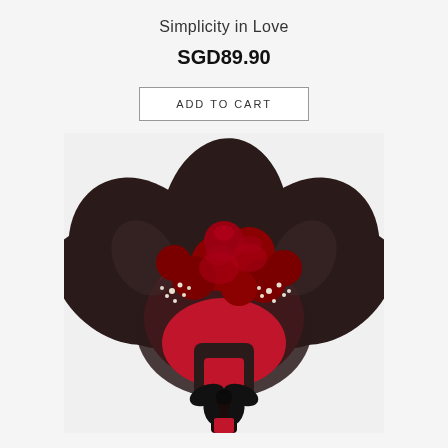Simplicity in Love
SGD89.90
ADD TO CART
[Figure (photo): A bouquet of red roses with white baby's breath, wrapped in dark black paper with red inner wrapping, tied with a black ribbon bow at the stem.]